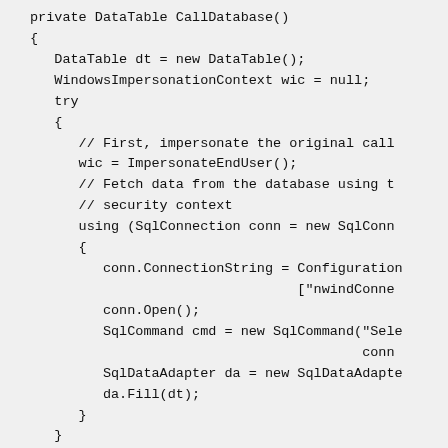[Figure (screenshot): Code snippet showing a C# private method CallDatabase() with DataTable, WindowsImpersonationContext, try block containing ImpersonateEndUser call, SqlConnection with ConnectionString set from Configuration, conn.Open(), SqlCommand, SqlDataAdapter, da.Fill(dt), closing braces, catch block beginning.]